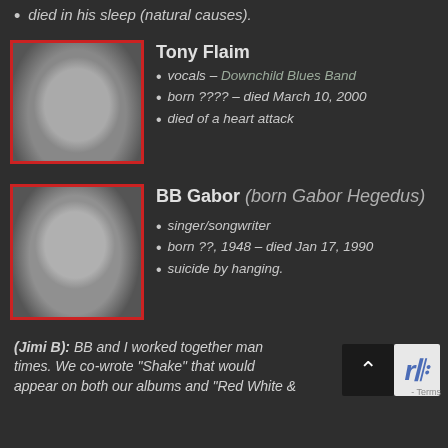died in his sleep (natural causes).
Tony Flaim
[Figure (photo): Black and white portrait photo of Tony Flaim, a heavyset man with curly hair, with a red border frame]
vocals – Downchild Blues Band
born ???? – died March 10, 2000
died of a heart attack
BB Gabor (born Gabor Hegedus)
[Figure (photo): Black and white portrait photo of BB Gabor, a young man with short dark hair, with a red border frame]
singer/songwriter
born ??, 1948 – died Jan 17, 1990
suicide by hanging.
(Jimi B): BB and I worked together many times. We co-wrote "Shake" that would appear on both our albums and "Red White &